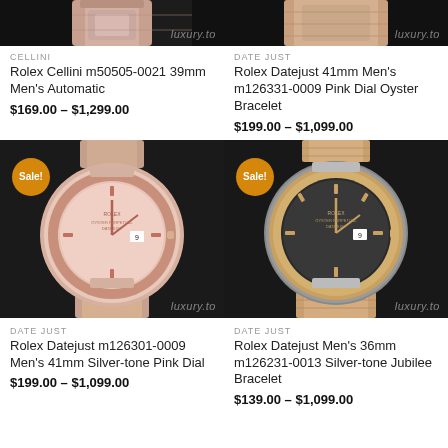[Figure (photo): Cropped top portion of a Rolex Cellini watch on dark background with luxury.to watermark]
[Figure (photo): Cropped top portion of a Rolex Datejust watch on dark background with luxury.to watermark]
CELLINI
Rolex Cellini m50505-0021 39mm Men's Automatic
$169.00 – $1,299.00
DATE JUST
Rolex Datejust 41mm Men's m126331-0009 Pink Dial Oyster Bracelet
$199.00 – $1,099.00
[Figure (photo): Rolex Datejust m126301-0009 Men's 41mm watch with pink dial, rose gold and steel oyster bracelet on dark background. Sale badge overlay. luxury.to watermark.]
[Figure (photo): Rolex Datejust Men's 36mm m126231-0013 watch with dark/grey dial, rose gold fluted bezel and jubilee bracelet on dark background. Sale badge overlay. luxury.to watermark.]
DATE JUST
Rolex Datejust m126301-0009 Men's 41mm Silver-tone Pink Dial
$199.00 – $1,099.00
DATE JUST
Rolex Datejust Men's 36mm m126231-0013 Silver-tone Jubilee Bracelet
$139.00 – $1,099.00